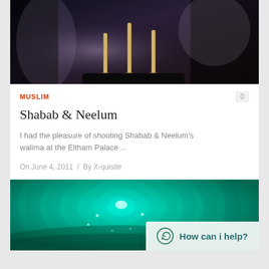[Figure (photo): Wedding candles/centerpieces on dark background with draped fabric]
MUSLIM
0
Shabab & Neelum
I had the pleasure of shooting Shabab & Neelum's walima at the Eltham Palace ...
On June 4, 2011  /  By X-quisite
[Figure (photo): Spiral staircase photographed from above with turquoise/teal green lighting]
How can i help?